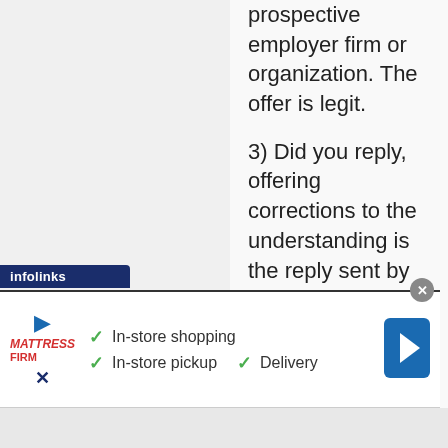prospective employer firm or organization. The offer is legit.
3) Did you reply, offering corrections to the understanding is the reply sent by certified or registered USPS (mail)? (If I were a serious employer I would also use registered mail).
4) Would not hurt to have a qualified and licensed attorney read and comment to you privately about the content of the confirmed offer. Are there
[Figure (screenshot): Infolinks ad overlay with Mattress Firm advertisement showing In-store shopping, In-store pickup, and Delivery options with green checkmarks]